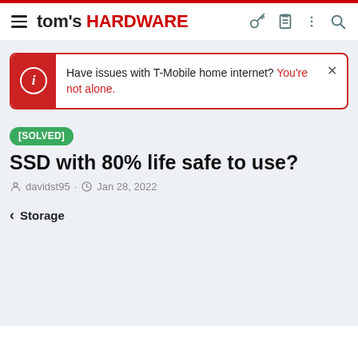tom's HARDWARE
Have issues with T-Mobile home internet? You're not alone.
[SOLVED] SSD with 80% life safe to use?
davidst95 · Jan 28, 2022
< Storage